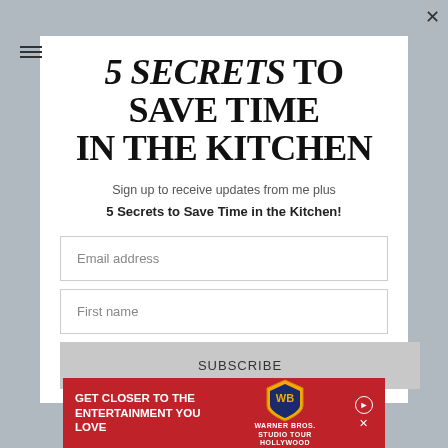5 SECRETS TO SAVE TIME IN THE KITCHEN
Sign up to receive updates from me plus 5 Secrets to Save Time in the Kitchen!
Email address
First name
SUBSCRIBE
[Figure (infographic): Red advertisement banner for Warner Bros. Studio Tour Hollywood with text 'GET CLOSER TO THE ENTERTAINMENT YOU LOVE' and WB shield logo]